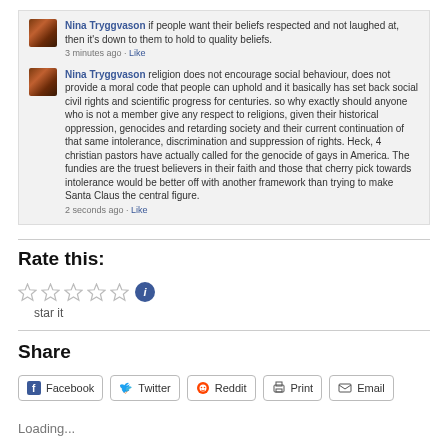Nina Tryggvason if people want their beliefs respected and not laughed at, then it's down to them to hold to quality beliefs. 3 minutes ago · Like
Nina Tryggvason religion does not encourage social behaviour, does not provide a moral code that people can uphold and it basically has set back social civil rights and scientific progress for centuries. so why exactly should anyone who is not a member give any respect to religions, given their historical oppression, genocides and retarding society and their current continuation of that same intolerance, discrimination and suppression of rights. Heck, 4 christian pastors have actually called for the genocide of gays in America. The fundies are the truest believers in their faith and those that cherry pick towards intolerance would be better off with another framework than trying to make Santa Claus the central figure. 2 seconds ago · Like
Rate this:
[Figure (infographic): Five empty star rating icons followed by a blue info icon circle]
star it
Share
[Figure (infographic): Share buttons: Facebook, Twitter, Reddit, Print, Email]
Loading...